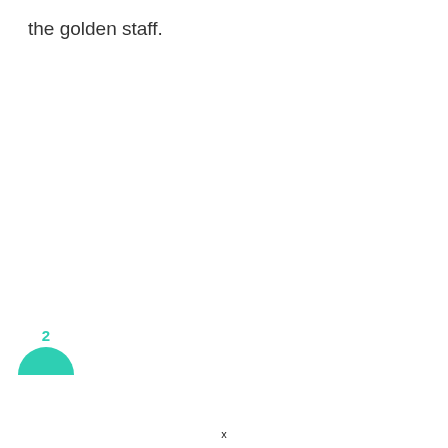the golden staff.
[Figure (other): A teal/green semicircle shape with the number '2' in teal above it, partially visible at the bottom-left corner of the page. Also a small 'x' character near the bottom center.]
x